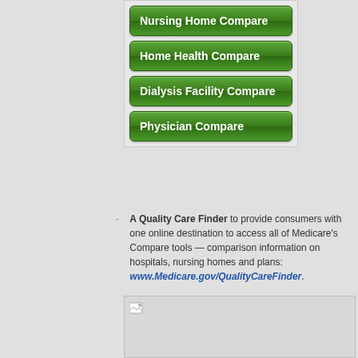[Figure (screenshot): A set of green navigation buttons: Nursing Home Compare, Home Health Compare, Dialysis Facility Compare, Physician Compare]
A Quality Care Finder to provide consumers with one online destination to access all of Medicare's Compare tools — comparison information on hospitals, nursing homes and plans: www.Medicare.gov/QualityCareFinder.
[Figure (screenshot): A broken/missing image placeholder below the list item text]